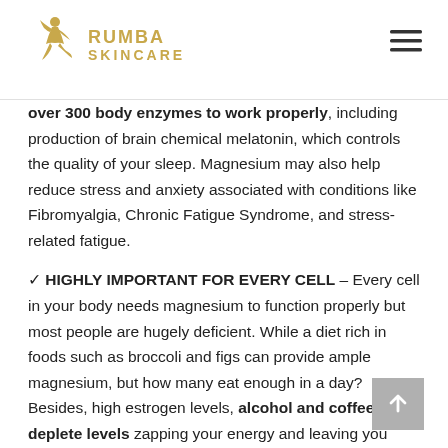RUMBA SKINCARE
over 300 body enzymes to work properly, including production of brain chemical melatonin, which controls the quality of your sleep. Magnesium may also help reduce stress and anxiety associated with conditions like Fibromyalgia, Chronic Fatigue Syndrome, and stress-related fatigue.
✓ HIGHLY IMPORTANT FOR EVERY CELL – Every cell in your body needs magnesium to function properly but most people are hugely deficient. While a diet rich in foods such as broccoli and figs can provide ample magnesium, but how many eat enough in a day? Besides, high estrogen levels, alcohol and coffee can deplete levels zapping your energy and leaving you feeling sluggish.